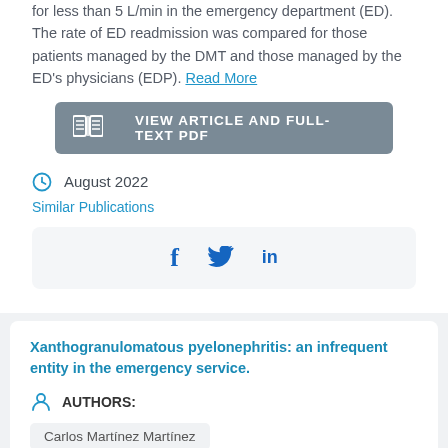for less than 5 L/min in the emergency department (ED). The rate of ED readmission was compared for those patients managed by the DMT and those managed by the ED's physicians (EDP). Read More
[Figure (other): Button: VIEW ARTICLE AND FULL-TEXT PDF with open book icon]
August 2022
Similar Publications
[Figure (other): Social share icons: Facebook (f), Twitter (bird), LinkedIn (in)]
Xanthogranulomatous pyelonephritis: an infrequent entity in the emergency service.
AUTHORS:
Carlos Martínez Martínez